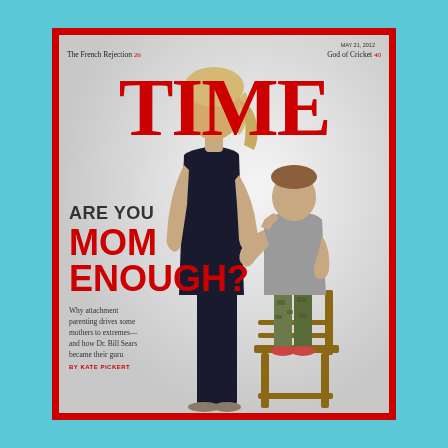[Figure (photo): TIME magazine cover dated May 21, 2012. Red border surrounds the cover. At top left: 'The French Rejection 26', top right: 'God of Cricket 40'. Large red TIME logo. Cover shows a woman in a dark tank top standing with hand on hip and a young boy standing on a wooden chair nursing from her. Left side text reads: 'ARE YOU MOM ENOUGH?' in bold with subheadline 'Why attachment parenting drives some mothers to extremes—and how Dr. Bill Sears became their guru BY KATE PICKERT']